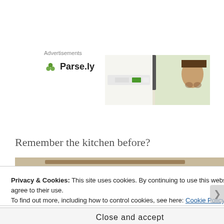Advertisements
[Figure (logo): Parse.ly logo with green leaf icon and bold text 'Parse.ly']
[Figure (screenshot): Screenshot of Parse.ly dashboard interface with a woman's face partially visible on the right side]
Remember the kitchen before?
[Figure (photo): Partial photo of a kitchen showing a dark wood or stone element against a light background]
Privacy & Cookies: This site uses cookies. By continuing to use this website, you agree to their use.
To find out more, including how to control cookies, see here: Cookie Policy
Close and accept